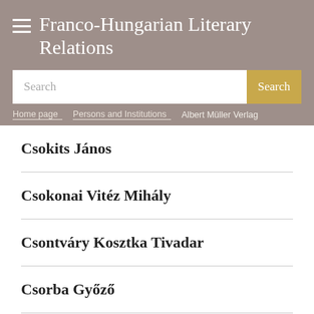Franco-Hungarian Literary Relations
Search
Home page > Persons and Institutions > Albert Müller Verlag
Csokits János
Csokonai Vitéz Mihály
Csontváry Kosztka Tivadar
Csorba Győző